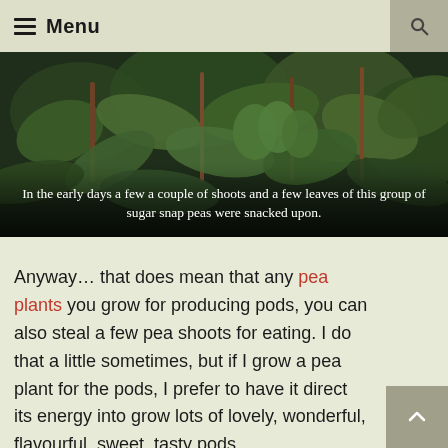≡ Menu
[Figure (photo): Close-up photograph of sugar snap pea plants with dark green leaves and stems, showing garden plants growing in pots with a dark background]
In the early days a few a couple of shoots and a few leaves of this group of sugar snap peas were snacked upon.
Anyway… that does mean that any pea plants you grow for producing pods, you can also steal a few pea shoots for eating. I do that a little sometimes, but if I grow a pea plant for the pods, I prefer to have it direct its energy into grow lots of lovely, wonderful, flavourful, sweet, tasty pods.